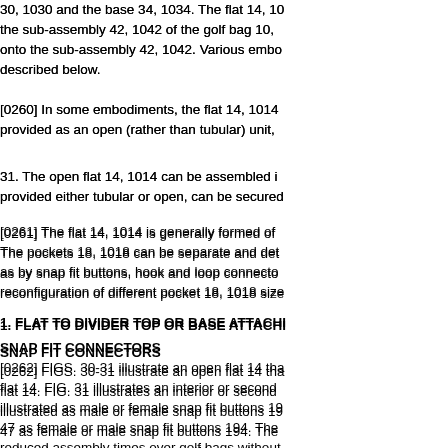30, 1030 and the base 34, 1034. The flat 14, 1014 ... the sub-assembly 42, 1042 of the golf bag 10, ... onto the sub-assembly 42, 1042. Various embo... described below.
[0260] In some embodiments, the flat 14, 1014 ... provided as an open (rather than tubular) unit,
31. The open flat 14, 1014 can be assembled i... provided either tubular or open, can be secure...
[0261] The flat 14, 1014 is generally formed of ... The pockets 18, 1018 can be separate and det... as by snap fit buttons, hook and loop connecto... reconfiguration of different pocket 18, 1018 siz...
1. FLAT TO DIVIDER TOP OR BASE ATTACHI...
SNAP FIT CONNECTORS
[0262] FIGS. 30-31 illustrate an open flat 14 tha... flat 14. FIG. 31 illustrates an interior or second ... illustrated as male or female snap fit buttons 19... 47 as female or male snap fit buttons 194. The ... reduced assembly times over golf bags without... or sewing the flat onto the divider top 30 and/ o...
2. FLAT TO DIVIDER TOP ATTACHMENT ME...
COLLAR
[0263] A tubular flat 14, 1014 can also be conn... comprises at least a divider top 230, similar to ...